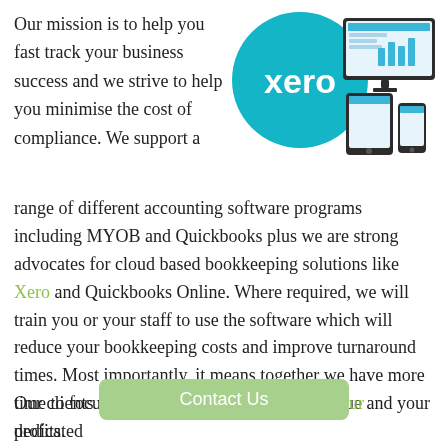Our mission is to help you fast track your business success and we strive to help you minimise the cost of compliance. We support a range of different accounting software programs including MYOB and Quickbooks plus we are strong advocates for cloud based bookkeeping solutions like Xero and Quickbooks Online. Where required, we will train you or your staff to use the software which will reduce your bookkeeping costs and improve turnaround times. Most importantly, it means together we have more time to focus on strategies to grow your revenue and your profits.
[Figure (logo): Xero logo on teal circle with devices (monitor, tablet, phone) showing Xero software interface]
Contact Us
Our clients come from all over Australia and our dedicated